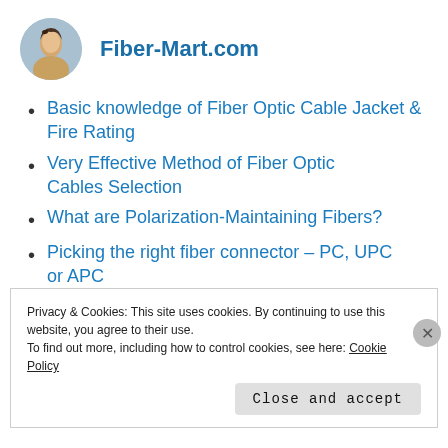Fiber-Mart.com
Basic knowledge of Fiber Optic Cable Jacket & Fire Rating
Very Effective Method of Fiber Optic Cables Selection
What are Polarization-Maintaining Fibers?
Picking the right fiber connector – PC, UPC or APC
Privacy & Cookies: This site uses cookies. By continuing to use this website, you agree to their use. To find out more, including how to control cookies, see here: Cookie Policy
Close and accept